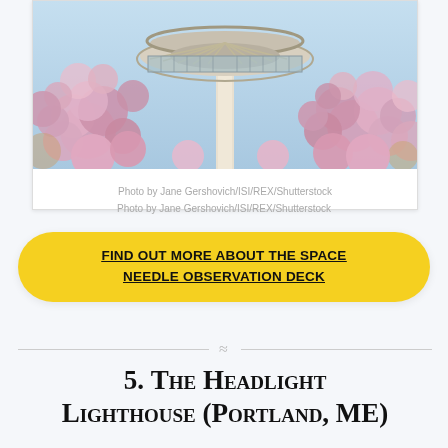[Figure (photo): Close-up photo of the Seattle Space Needle observation deck top viewed from below, surrounded by blooming pink/purple magnolia flowers and branches against a light blue sky.]
Photo by Jane Gershovich/ISI/REX/Shutterstock
FIND OUT MORE ABOUT THE SPACE NEEDLE OBSERVATION DECK
5. The Headlight Lighthouse (Portland, ME)